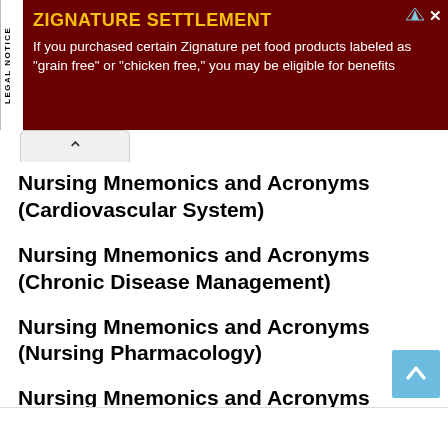[Figure (other): Legal notice advertisement banner for Zignature Settlement on dark red background with yellow title text and white body text]
Nursing Mnemonics and Acronyms (Cardiovascular System)
Nursing Mnemonics and Acronyms (Chronic Disease Management)
Nursing Mnemonics and Acronyms (Nursing Pharmacology)
Nursing Mnemonics and Acronyms (Respiratory, Endocrine, and Nervous Systems)